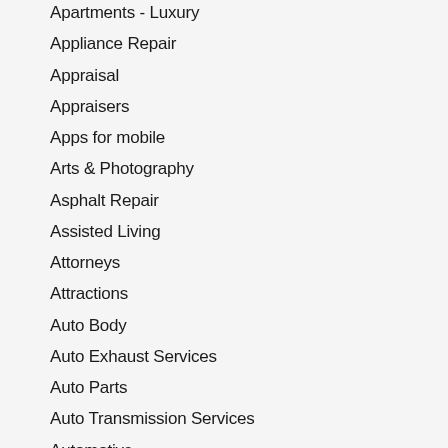Apartments - Luxury
Appliance Repair
Appraisal
Appraisers
Apps for mobile
Arts & Photography
Asphalt Repair
Assisted Living
Attorneys
Attractions
Auto Body
Auto Exhaust Services
Auto Parts
Auto Transmission Services
Automotive